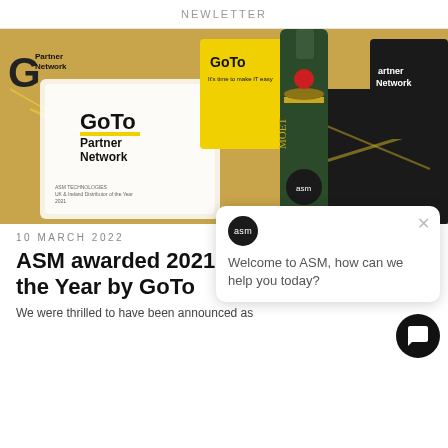NEWLETTER
[Figure (photo): GoTo Partner Network branded gift hamper with Moet champagne bottle, a GoTo Partner Network glass award plaque with 'ASM Technologies UK & Ireland Distributor of the Year 2021' inscription, yellow shredded paper, a yellow GoTo branded box, a dark GoTo Partner Network book/notebook, and yellow GoTo branded items on black shredded paper background.]
10 MARCH 2022
ASM awarded 2021 UKI Distributor of the Year by GoTo
We were thrilled to have been announced as
Welcome to ASM, how can we help you today?